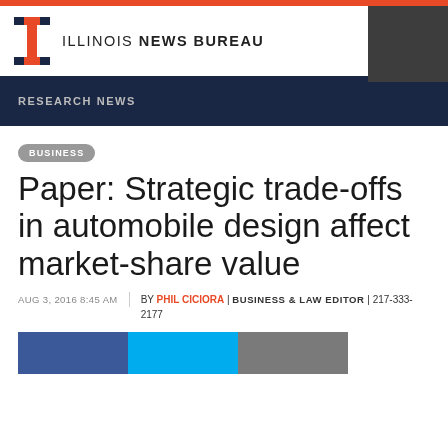ILLINOIS NEWS BUREAU
RESEARCH NEWS
BUSINESS
Paper: Strategic trade-offs in automobile design affect market-share value
AUG 3, 2016 8:45 AM | BY PHIL CICIORA | BUSINESS & LAW EDITOR | 217-333-2177
[Figure (other): Social sharing buttons: Facebook (dark blue), Twitter (light blue), and a grey button]